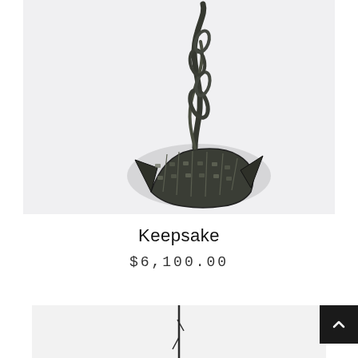[Figure (photo): A dark metallic sculptural jewelry piece resembling an abstract crescent or claw shape with textured surfaces, photographed on a white background with shadow.]
Keepsake
$6,100.00
[Figure (photo): Partial view of another artwork — appears to be a thin vertical sculptural piece on a light background, partially visible at the bottom of the page.]